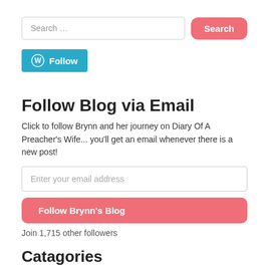[Figure (screenshot): Search bar with text 'Search …' and a pink rounded Search button]
[Figure (screenshot): WordPress blue Follow button with W icon]
Follow Blog via Email
Click to follow Brynn and her journey on Diary Of A Preacher's Wife... you'll get an email whenever there is a new post!
[Figure (screenshot): Email input field with placeholder 'Enter your email address' and a pink 'Follow Brynn's Blog' button below]
Join 1,715 other followers
Catagories
Chronicles of Grace & Glory (7)